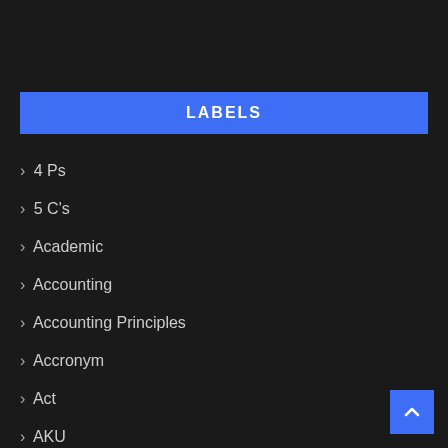LABELS
4 Ps
5 C's
Academic
Accounting
Accounting Principles
Accronym
Act
AKU
AOA
App